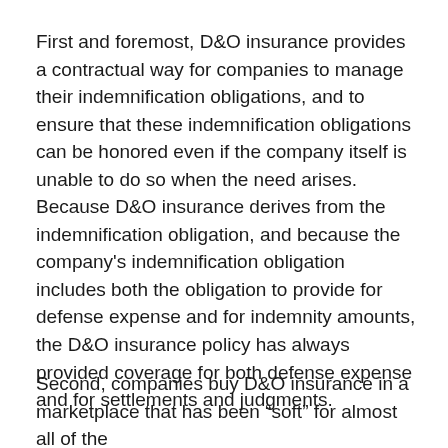First and foremost, D&O insurance provides a contractual way for companies to manage their indemnification obligations, and to ensure that these indemnification obligations can be honored even if the company itself is unable to do so when the need arises. Because D&O insurance derives from the indemnification obligation, and because the company's indemnification obligation includes both the obligation to provide for defense expense and for indemnity amounts, the D&O insurance policy has always provided coverage for both defense expense and for settlements and judgments.
Second, companies buy D&O insurance in a marketplace that has been “soft” for almost all of the